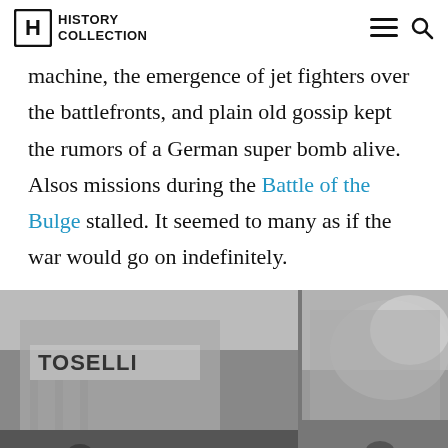HISTORY COLLECTION
machine, the emergence of jet fighters over the battlefronts, and plain old gossip kept the rumors of a German super bomb alive. Alsos missions during the Battle of the Bulge stalled. It seemed to many as if the war would go on indefinitely.
[Figure (photo): Black and white historical photograph showing a street scene with a building labeled TOSELLI and smoke or destruction in the background, likely from World War II]
Advertisement
Build Nuclear Now
Clean. Secure. Homegrown.